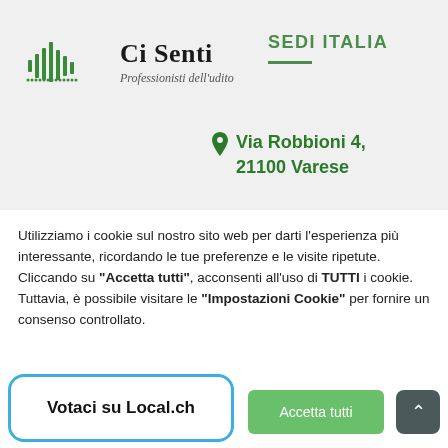[Figure (logo): Ci Senti logo with green sound wave bars and text 'Ci Senti Professionisti dell'udito']
SEDI ITALIA
Via Robbioni 4, 21100 Varese
Utilizziamo i cookie sul nostro sito web per darti l'esperienza più interessante, ricordando le tue preferenze e le visite ripetute. Cliccando su "Accetta tutti", acconsenti all'uso di TUTTI i cookie. Tuttavia, è possibile visitare le "Impostazioni Cookie" per fornire un consenso controllato.
Votaci su Local.ch
Accetta tutti